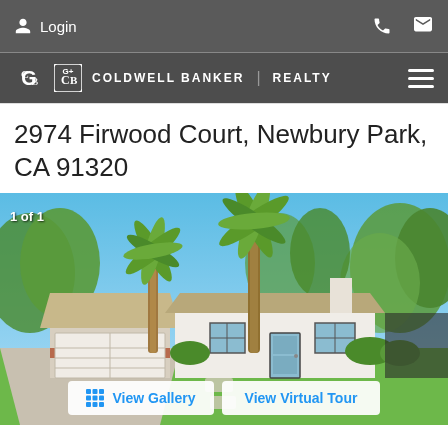Login
[Figure (logo): Coldwell Banker Realty logo with hamburger menu]
2974 Firwood Court, Newbury Park, CA 91320
[Figure (photo): Exterior photo of a single-story house with two-car garage, palm tree in front, blue sky, green trees. Overlay text: 1 of 1]
View Gallery
View Virtual Tour